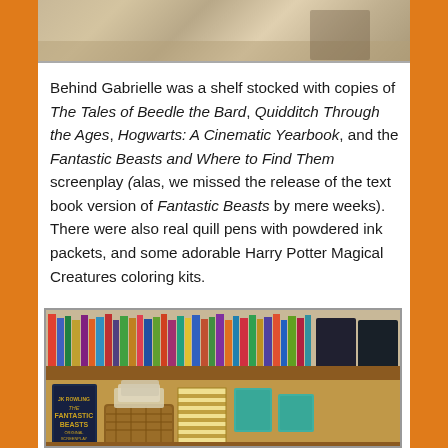[Figure (photo): Top portion of a photo showing a table/furniture scene, partially visible at top of page]
Behind Gabrielle was a shelf stocked with copies of The Tales of Beedle the Bard, Quidditch Through the Ages, Hogwarts: A Cinematic Yearbook, and the Fantastic Beasts and Where to Find Them screenplay (alas, we missed the release of the text book version of Fantastic Beasts by mere weeks). There were also real quill pens with powdered ink packets, and some adorable Harry Potter Magical Creatures coloring kits.
[Figure (photo): A bookshelf with books on the top shelf and various items including a Fantastic Beasts book, a wicker basket, striped stacked books, and teal boxes on the lower shelf]